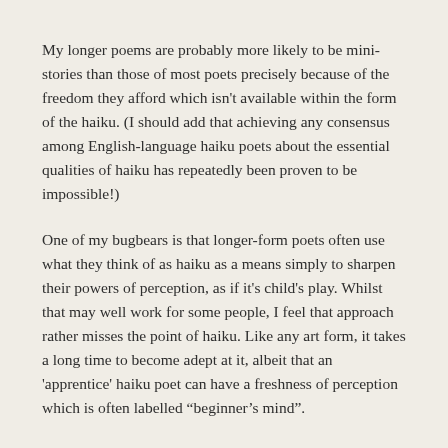My longer poems are probably more likely to be mini-stories than those of most poets precisely because of the freedom they afford which isn't available within the form of the haiku. (I should add that achieving any consensus among English-language haiku poets about the essential qualities of haiku has repeatedly been proven to be impossible!)
One of my bugbears is that longer-form poets often use what they think of as haiku as a means simply to sharpen their powers of perception, as if it's child's play. Whilst that may well work for some people, I feel that approach rather misses the point of haiku. Like any art form, it takes a long time to become adept at it, albeit that an 'apprentice' haiku poet can have a freshness of perception which is often labelled “beginner’s mind”.